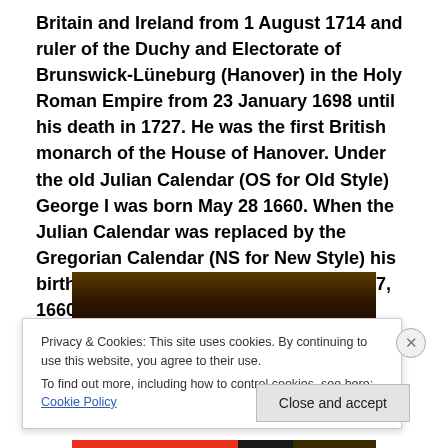Britain and Ireland from 1 August 1714 and ruler of the Duchy and Electorate of Brunswick-Lüneburg (Hanover) in the Holy Roman Empire from 23 January 1698 until his death in 1727. He was the first British monarch of the House of Hanover. Under the old Julian Calendar (OS for Old Style) George I was born May 28 1660. When the Julian Calendar was replaced by the Gregorian Calendar (NS for New Style) his birthday was recognized as being June 7, 1660.
[Figure (photo): Dark historical photograph or painting, mostly dark brown/black tones, partially obscured by cookie banner overlay]
Privacy & Cookies: This site uses cookies. By continuing to use this website, you agree to their use.
To find out more, including how to control cookies, see here: Cookie Policy
Close and accept